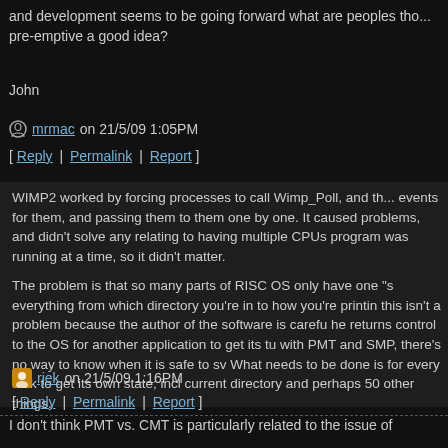and development seems to be going forward what are peoples thoughts on making pre-emptive a good idea?
John
mrmac on 21/5/09 1:05PM [ Reply | Permalink | Report ]
WIMP2 worked by forcing processes to call Wimp_Poll, and then queuing events for them, and passing them to them one by one. It caused lots of problems, and didn't solve any relating to having multiple CPUs; only one program was running at a time, so it didn't matter.

The problem is that so many parts of RISC OS only have one "state" for everything from which directory you're in to how you're printing. Currently this isn't a problem because the author of the software is careful about when he returns control to the OS for another application to get its turn. But with PMT and SMP, there's no way to know when it is safe to switch. What needs to be done is for every task to get its own state; including current directory and perhaps 50 other things.
rjek on 21/5/09 1:16PM [ Reply | Permalink | Report ]
I don't think PMT vs. CMT is particularly related to the issue of